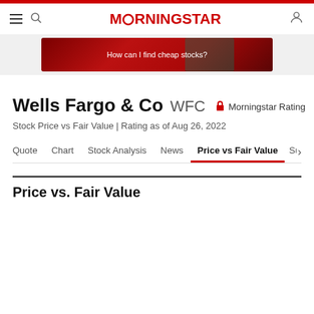MORNINGSTAR
[Figure (infographic): Advertisement banner with red gradient background and text 'How can I find cheap stocks?']
Wells Fargo & Co WFC  Morningstar Rating
Stock Price vs Fair Value | Rating as of Aug 26, 2022
Quote  Chart  Stock Analysis  News  Price vs Fair Value  Sustai
Price vs. Fair Value